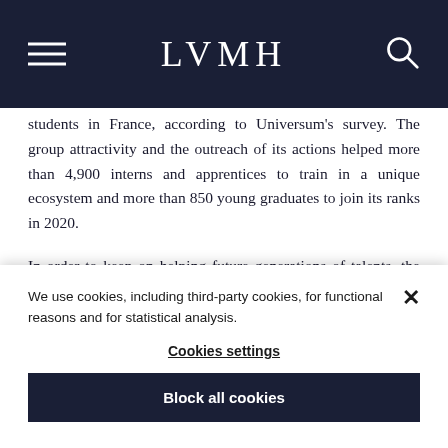LVMH
students in France, according to Universum's survey. The group attractivity and the outreach of its actions helped more than 4,900 interns and apprentices to train in a unique ecosystem and more than 850 young graduates to join its ranks in 2020.
In order to keep on helping future generations of talents, the LVMH group added a new scope to its international
We use cookies, including third-party cookies, for functional reasons and for statistical analysis.
Cookies settings
Block all cookies